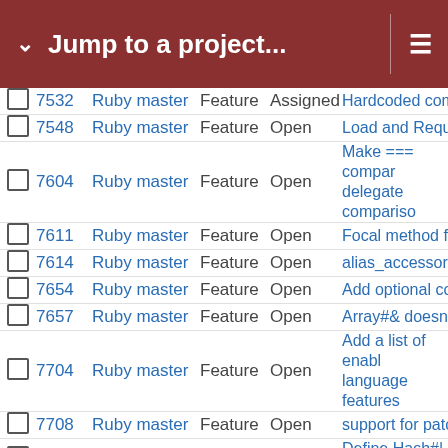Jump to a project...
|  | # | Project | Tracker | Status | Subject |
| --- | --- | --- | --- | --- | --- |
|  | 7532 | Ruby master | Feature | Assigned | Hardcoded compil |
|  | 7548 | Ruby master | Feature | Open | Load and Require |
|  | 7604 | Ruby master | Feature | Open | Make === compar delegate compariso |
|  | 7611 | Ruby master | Feature | Open | Focal method for a |
|  | 7614 | Ruby master | Feature | Open | alias_accessor |
|  | 7654 | Ruby master | Feature | Open | Add optional code |
|  | 7657 | Ruby master | Feature | Open | Array#& doesn't a |
|  | 7704 | Ruby master | Feature | Open | Add a list of enabl language features |
|  | 7708 | Ruby master | Feature | Open | support for patche |
|  | 7739 | Ruby master | Feature | Assigned | Define Hash#| as in Rails |
|  | 7742 | Ruby master | Bug | Open | System encoding recognized by Rub UTF-8 |